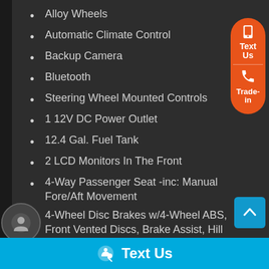Alloy Wheels
Automatic Climate Control
Backup Camera
Bluetooth
Steering Wheel Mounted Controls
1 12V DC Power Outlet
12.4 Gal. Fuel Tank
2 LCD Monitors In The Front
4-Way Passenger Seat -inc: Manual Fore/Aft Movement
4-Wheel Disc Brakes w/4-Wheel ABS, Front Vented Discs, Brake Assist, Hill Hold Control and Electric Parking Brake
6-Way Driver Seat -inc: Manual Fore/Aft Movement
Air Filtration
Text Us